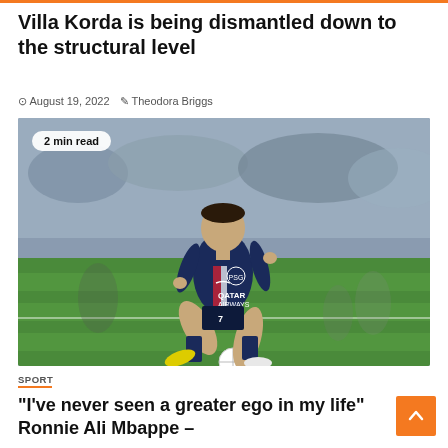Villa Korda is being dismantled down to the structural level
August 19, 2022   Theodora Briggs
[Figure (photo): Football player wearing PSG navy blue kit with QATAR AIRWAYS sponsor, number 7, kicking a ball on a green pitch. Badge overlay reads '2 min read'.]
SPORT
“I’ve never seen a greater ego in my life” Ronnie Ali Mbappe –